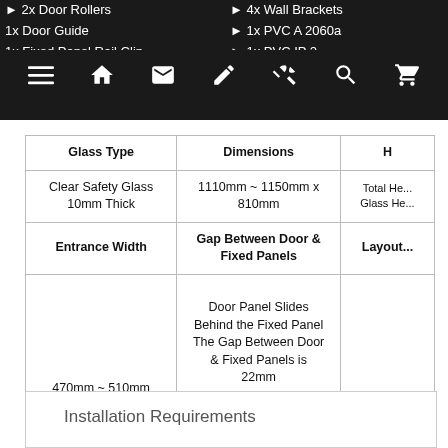2x Door Rollers | 1x Door Guide | 1x Fixed Panel Rail Clip | 1x Return Panel Rail Clip | 4x Wall Brackets | 1x PVC A2060a | 1x PVC IP 2... | 1x Waterbar
| Glass Type | Dimensions | H... |
| --- | --- | --- |
| Clear Safety Glass 10mm Thick | 1110mm ~ 1150mm x 810mm | Total He... Glass He... |
| Entrance Width | Gap Between Door & Fixed Panels
Door Panel Slides Behind the Fixed Panel The Gap Between Door & Fixed Panels is 22mm | Layout... |
| Finishing on Hardware
Chrome | Certified Product
AS1288 & AS2208 | W...
O... |
Installation Requirements